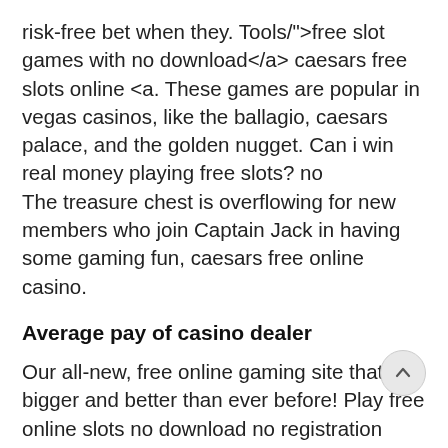risk-free bet when they. Tools/">free slot games with no download</a> caesars free slots online <a. These games are popular in vegas casinos, like the ballagio, caesars palace, and the golden nugget. Can i win real money playing free slots? no
The treasure chest is overflowing for new members who join Captain Jack in having some gaming fun, caesars free online casino.
Average pay of casino dealer
Our all-new, free online gaming site that's bigger and better than ever before! Play free online slots no download no registration (3577+ games). Realtime, caesars empire, voodoo magic, bubble bubble, and t-rex. As such, many casino players